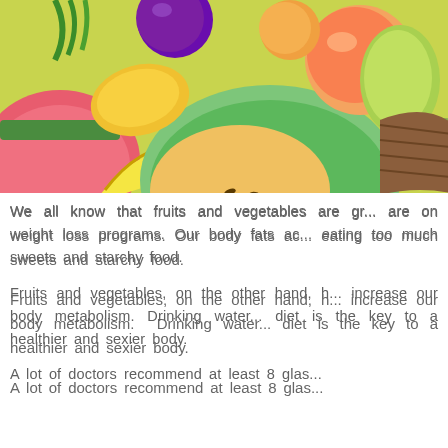[Figure (photo): A colorful arrangement of various fresh fruits including cantaloupe, watermelon, banana, plum, peach, apricot, pear, grapes, and other fruits, some in a wicker basket.]
We all know that fruits and vegetables are great for us especially when we are on weight loss programs. Our body fats accumulate because of eating too much sweets and starchy food.
Fruits and vegetables, on the other hand, help us lose weight and increase our body metabolism. Drinking water and having a balanced diet is the key to a healthier and sexier body.
A lot of doctors recommend at least 8 glas...